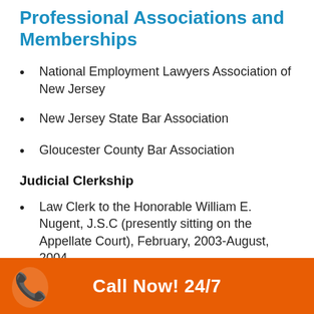Professional Associations and Memberships
National Employment Lawyers Association of New Jersey
New Jersey State Bar Association
Gloucester County Bar Association
Judicial Clerkship
Law Clerk to the Honorable William E. Nugent, J.S.C (presently sitting on the Appellate Court), February, 2003-August, 2004
Call Now! 24/7